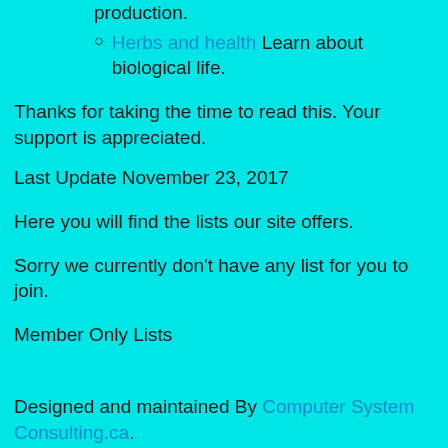production.
Herbs and health Learn about biological life.
Thanks for taking the time to read this. Your support is appreciated.
Last Update November 23, 2017
Here you will find the lists our site offers.
Sorry we currently don't have any list for you to join.
Member Only Lists
Designed and maintained By Computer System Consulting.ca.
Application is under GNU General Public License & Copy; 1996